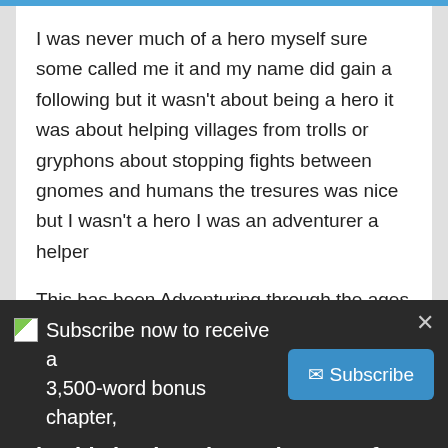I was never much of a hero myself sure some called me it and my name did gain a following but it wasn't about being a hero it was about helping villages from trolls or gryphons about stopping fights between gnomes and humans the tresures was nice but I wasn't a hero I was an adventurer a helper
This has been Adventuring through the ages volume ???
Reply
Subscribe now to receive a 3,500-word bonus chapter, printable bookmarks, and a map of Daegal